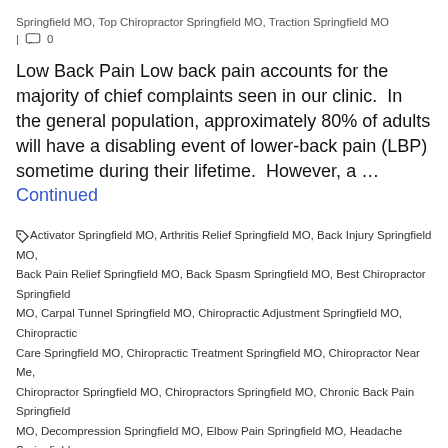Springfield MO, Top Chiropractor Springfield MO, Traction Springfield MO
| 0
Low Back Pain Low back pain accounts for the majority of chief complaints seen in our clinic.  In the general population, approximately 80% of adults will have a disabling event of lower-back pain (LBP) sometime during their lifetime.  However, a … Continued
Activator Springfield MO, Arthritis Relief Springfield MO, Back Injury Springfield MO, Back Pain Relief Springfield MO, Back Spasm Springfield MO, Best Chiropractor Springfield MO, Carpal Tunnel Springfield MO, Chiropractic Adjustment Springfield MO, Chiropractic Care Springfield MO, Chiropractic Treatment Springfield MO, Chiropractor Near Me, Chiropractor Springfield MO, Chiropractors Springfield MO, Chronic Back Pain Springfield MO, Decompression Springfield MO, Elbow Pain Springfield MO, Headache Springfield MO, Herniated Disc Springfield MO, Hip Pain Springfield MO, Jaw Pain Springfield MO, Joint Pain Springfield MO, Knee Pain Springfield MO, Leg Pain Springfield MO, Lower-Back Pain Springfield MO, Medicare Springfield MO, Neck Pain Springfield MO, Orthotics Springfield MO, Pain Management Springfield MO, Pinched Nerve Springfield MO, Rotator Cuff Springfield MO, Sciatic Nerve Springfield MO, Sciatica Springfield MO, Shoulder Pain